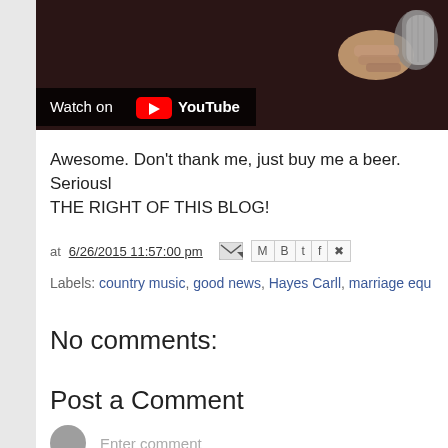[Figure (screenshot): YouTube video thumbnail showing a person holding a microphone against a dark background, with a 'Watch on YouTube' overlay button at the bottom left]
Awesome. Don't thank me, just buy me a beer. Seriously! THE RIGHT OF THIS BLOG!
at 6/26/2015 11:57:00 pm
Labels: country music, good news, Hayes Carll, marriage equ
No comments:
Post a Comment
Enter comment